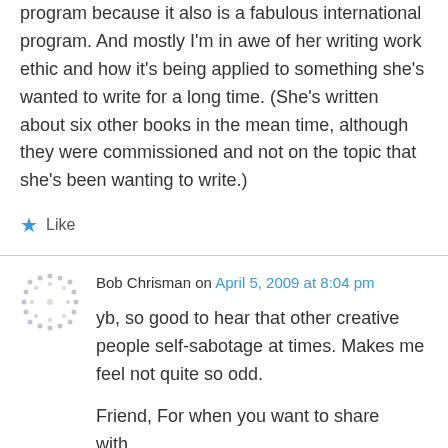program because it also is a fabulous international program. And mostly I'm in awe of her writing work ethic and how it's being applied to something she's wanted to write for a long time. (She's written about six other books in the mean time, although they were commissioned and not on the topic that she's been wanting to write.)
★ Like
Bob Chrisman on April 5, 2009 at 8:04 pm
yb, so good to hear that other creative people self-sabotage at times. Makes me feel not quite so odd.
Friend, For when you want to share with...